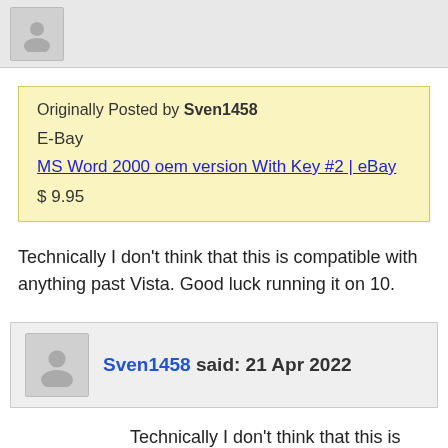[Figure (illustration): User avatar placeholder icon in gray square at top of page]
Originally Posted by Sven1458
E-Bay
MS Word 2000 oem version With Key #2 | eBay
$ 9.95
Technically I don't think that this is compatible with anything past Vista. Good luck running it on 10.
Sven1458 said: 21 Apr 2022
Technically I don't think that this is compatible with anything past Vista. Good luck running it on 10.